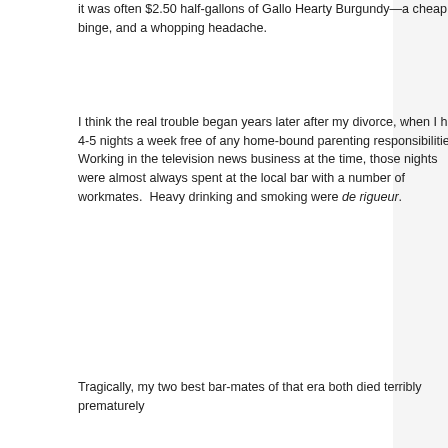it was often $2.50 half-gallons of Gallo Hearty Burgundy—a cheap binge, and a whopping headache.
I think the real trouble began years later after my divorce, when I had 4-5 nights a week free of any home-bound parenting responsibilities.  Working in the television news business at the time, those nights were almost always spent at the local bar with a number of workmates.  Heavy drinking and smoking were de rigueur.
Tragically, my two best bar-mates of that era both died terribly prematurely